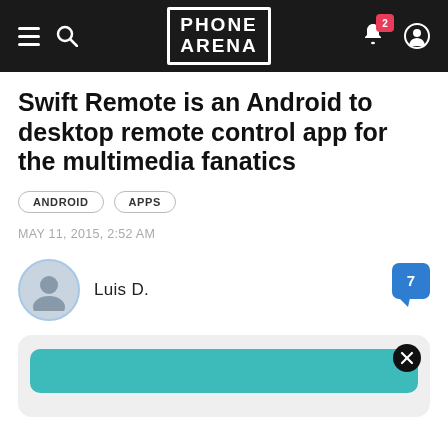PHONE ARENA
Swift Remote is an Android to desktop remote control app for the multimedia fanatics
ANDROID  APPS
MAY 11, 2015, 2:52 AM
Luis D.
[Figure (screenshot): Partial view of a teal/cyan colored content card with a close (X) button in the top right corner]